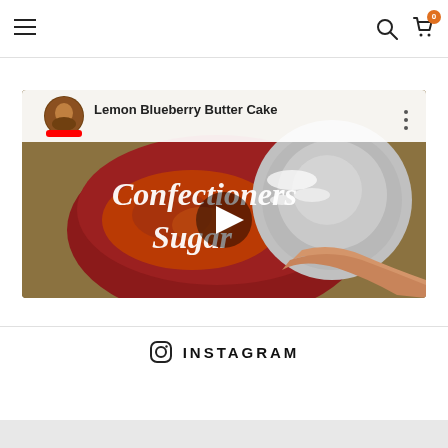Navigation header with hamburger menu, search icon, and cart icon with badge 0
[Figure (screenshot): YouTube video thumbnail for 'Lemon Blueberry Butter Cake' showing a red bowl with fruit filling and confectioners sugar being poured, with a play button overlay and video title bar at top]
INSTAGRAM